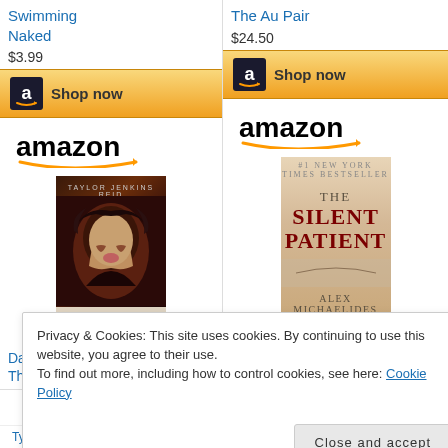Swimming Naked
$3.99
[Figure (logo): Amazon Shop now button with Amazon logo icon and golden gradient background]
[Figure (logo): Amazon logo with wordmark and orange smile arrow]
[Figure (illustration): Book cover: Daisy Jones & The Six by Taylor Jenkins Reid]
Daisy Jones & The Six: A Novel
The Au Pair
$24.50
[Figure (logo): Amazon Shop now button with Amazon logo icon and golden gradient background]
[Figure (logo): Amazon logo with wordmark and orange smile arrow]
[Figure (illustration): Book cover: The Silent Patient by Alex Michaelides]
The Silent Patient
Privacy & Cookies: This site uses cookies. By continuing to use this website, you agree to their use. To find out more, including how to control cookies, see here: Cookie Policy
Close and accept